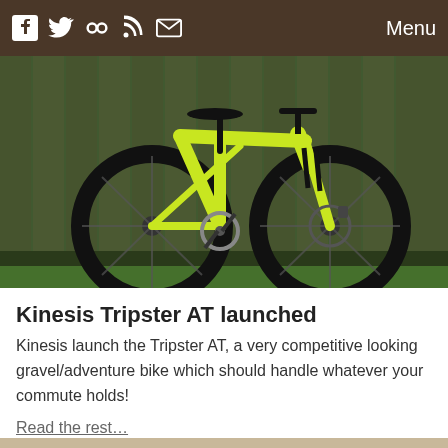Facebook Twitter Flickr RSS Mail  Menu
[Figure (photo): Kinesis Tripster AT bicycle with bright yellow/lime frame leaning against a wooden fence covered in ivy, photographed outdoors on gravel near grass.]
Kinesis Tripster AT launched
Kinesis launch the Tripster AT, a very competitive looking gravel/adventure bike which should handle whatever your commute holds!
Read the rest…